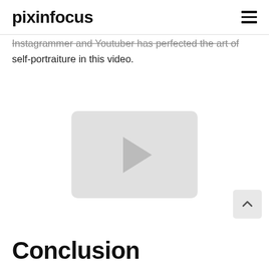pixinfocus
Instagrammer and Youtuber has perfected the art of self-portraiture in this video.
[Figure (screenshot): Video player placeholder with a grey rounded rectangle and a play button triangle in the center]
Conclusion